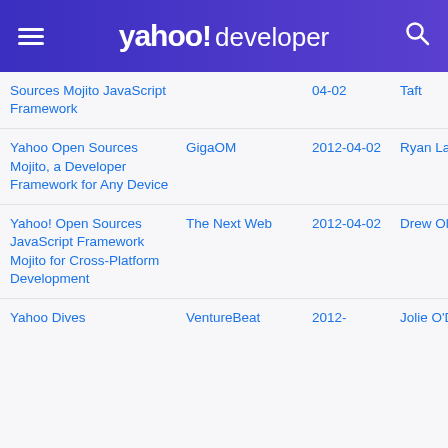yahoo! developer
| Sources Mojito JavaScript Framework |  | 04-02 | Taft |
| Yahoo Open Sources Mojito, a Developer Framework for Any Device | GigaOM | 2012-04-02 | Ryan Lawler |
| Yahoo! Open Sources JavaScript Framework Mojito for Cross-Platform Development | The Next Web | 2012-04-02 | Drew Olanoff |
| Yahoo Dives | VentureBeat | 2012- | Jolie O'Dell |